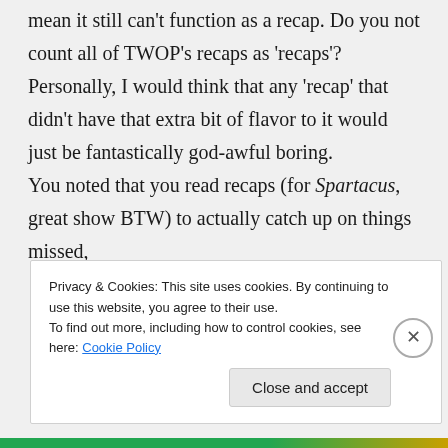mean it still can't function as a recap. Do you not count all of TWOP's recaps as 'recaps'?

Personally, I would think that any 'recap' that didn't have that extra bit of flavor to it would just be fantastically god-awful boring.

You noted that you read recaps (for Spartacus, great show BTW) to actually catch up on things missed,
Privacy & Cookies: This site uses cookies. By continuing to use this website, you agree to their use.
To find out more, including how to control cookies, see here: Cookie Policy